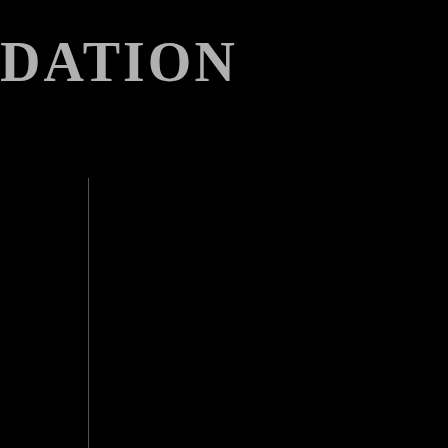DATION
forum for original research into cutting edge and
eoge ns and Consciousness Psychology and Psychotherapy
Parapsychology and Psychical Research